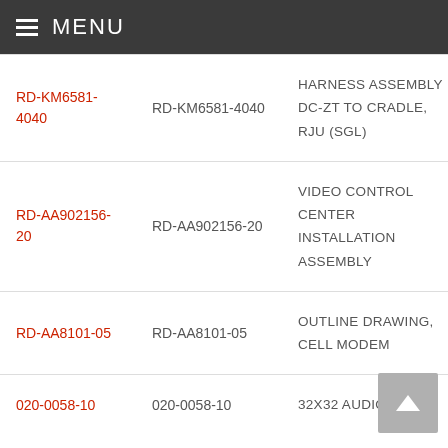MENU
| Link | Part Number | Description | Supplier |
| --- | --- | --- | --- |
| RD-KM6581-4040 | RD-KM6581-4040 | HARNESS ASSEMBLY DC-ZT TO CRADLE, RJU (SGL) | Airbus (A |
| RD-AA902156-20 | RD-AA902156-20 | VIDEO CONTROL CENTER INSTALLATION ASSEMBLY | Airbus (A |
| RD-AA8101-05 | RD-AA8101-05 | OUTLINE DRAWING, CELL MODEM | Airbus (A |
| 020-0058-10 | 020-0058-10 | 32X32 Audio MUX | Airbus (A |